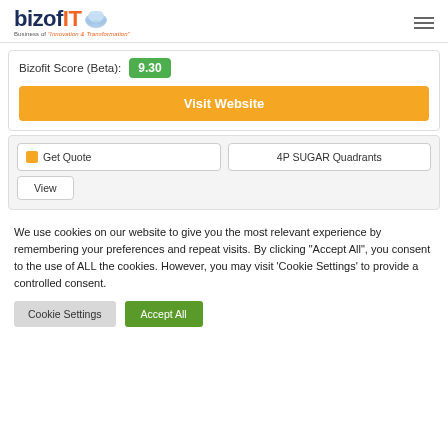[Figure (logo): BizofIT logo with cloud icon and tagline 'Business of Innovation & Transformation']
Bizofit Score (Beta): 9.30
Visit Website
Get Quote
4P SUGAR Quadrants
View
We use cookies on our website to give you the most relevant experience by remembering your preferences and repeat visits. By clicking "Accept All", you consent to the use of ALL the cookies. However, you may visit 'Cookie Settings' to provide a controlled consent.
Cookie Settings
Accept All